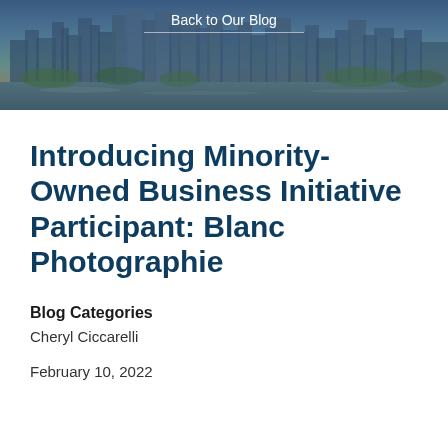[Figure (photo): Aerial/skyline photo of a city with waterfront, buildings, and blue sky, serving as a hero banner image]
Back to Our Blog
Introducing Minority-Owned Business Initiative Participant: Blanc Photographie
Blog Categories
Cheryl Ciccarelli
February 10, 2022